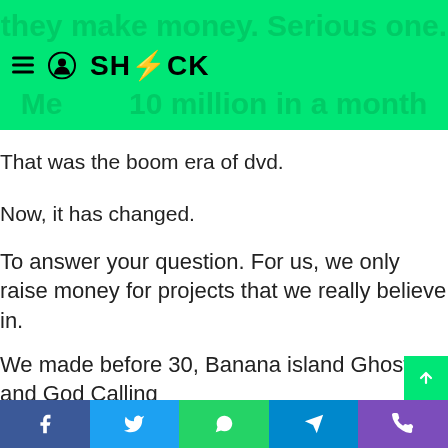SHOCK
That was the boom era of dvd.
Now, it has changed.
To answer your question. For us, we only raise money for projects that we really believe in.
We made before 30, Banana island Ghost and God Calling
Out of all of this, before 30 is our only profitable project, that even happened 5-6
Facebook | Twitter | WhatsApp | Telegram | Phone